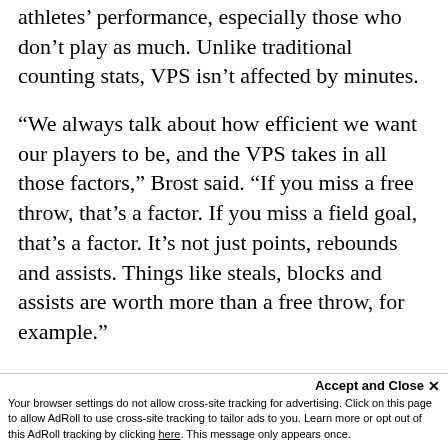athletes' performance, especially those who don't play as much. Unlike traditional counting stats, VPS isn't affected by minutes.
“We always talk about how efficient we want our players to be, and the VPS takes in all those factors,” Brost said. “If you miss a free throw, that’s a factor. If you miss a field goal, that’s a factor. It’s not just points, rebounds and assists. Things like steals, blocks and assists are worth more than a free throw, for example.”
Accept and Close × Your browser settings do not allow cross-site tracking for advertising. Click on this page to allow AdRoll to use cross-site tracking to tailor ads to you. Learn more or opt out of this AdRoll tracking by clicking here. This message only appears once.